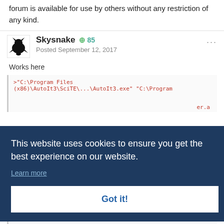forum is available for use by others without any restriction of any kind.
Skysnake  + 85
Posted September 12, 2017
Works here
[Figure (screenshot): Code block showing AutoIt command: >"C:\Program Files (x86)\AutoIt3\SciTE\...\AutoIt3.exe" "C:\Program ...]
This website uses cookies to ensure you get the best experience on our website.
Learn more
Got it!
[Figure (screenshot): Code block showing: >Running AbsCheck (3.3.14.2) from C:\Program Files (x86)\AutoIt3]